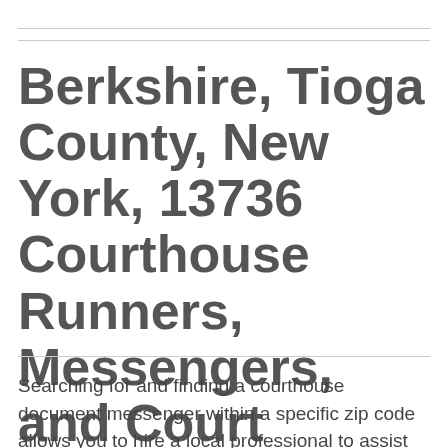Berkshire, Tioga County, New York, 13736 Courthouse Runners, Messengers, and Court Document Pick Up and Delivery Services
Searching for and finding a courthouse document messenger within a specific zip code allows you to hire a local professional to assist you. Courthouse Document